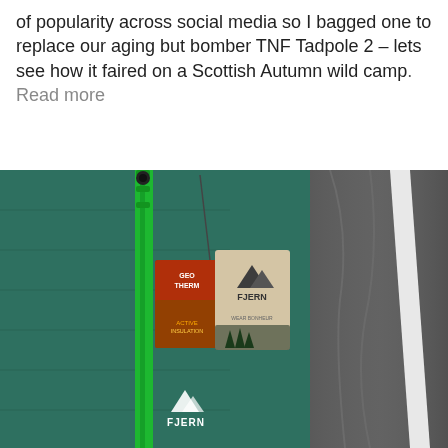of popularity across social media so I bagged one to replace our aging but bomber TNF Tadpole 2 – lets see how it faired on a Scottish Autumn wild camp. Read more
[Figure (photo): Close-up photo of a teal/dark green Fjern branded insulated jacket with bright green zipper and tags attached, next to a grey branded Fjern bag with 'BEYOND BOUNDARIES' text printed on a strap.]